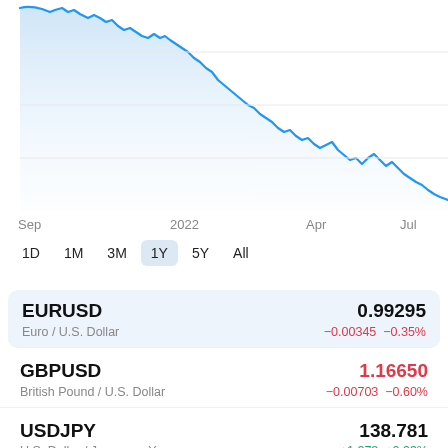[Figure (area-chart): 1-year EUR/USD area chart showing declining trend from Sep 2021 (~1.18) to Jul 2022 (~0.99), with x-axis labels: Sep, 2022, Apr, Jul]
Sep    2022    Apr    Jul
1D  1M  3M  1Y  5Y  All
EURUSD  0.99295
Euro / U.S. Dollar  −0.00345  −0.35%
GBPUSD  1.16650
British Pound / U.S. Dollar  −0.00703  −0.60%
USDJPY  138.781
U.S. Dollar / Japanese Yen  +1.278  +0.93%
USDCHF  0.97044
U.S. Dollar / Swiss Fr...  −0.00402  −0.40%